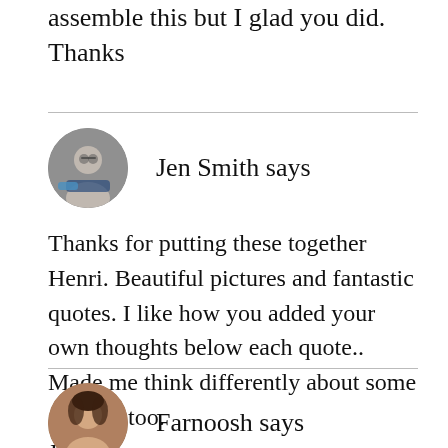assemble this but I glad you did. Thanks
[Figure (photo): Circular avatar of Jen Smith, a woman wearing glasses and a blue scarf]
Jen Smith says
Thanks for putting these together Henri. Beautiful pictures and fantastic quotes. I like how you added your own thoughts below each quote.. Made me think differently about some of them too.
Jen
[Figure (photo): Circular avatar of Farnoosh, a woman with dark hair]
Farnoosh says